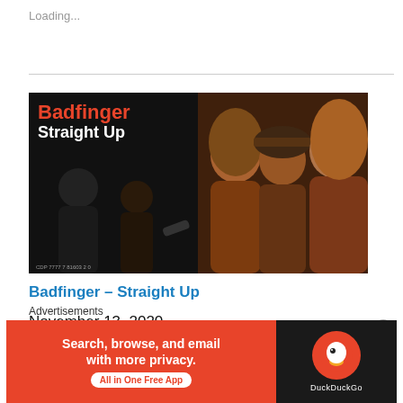Loading...
[Figure (photo): Album cover for Badfinger - Straight Up. Left half: dark/black background with red and white text 'Badfinger Straight Up' and two band members in dark clothing. Right half: close-up photo of three band members with long hair in brown/warm tones.]
Badfinger – Straight Up
November 13, 2020
Advertisements
[Figure (screenshot): DuckDuckGo advertisement banner: orange/red left section with text 'Search, browse, and email with more privacy. All in One Free App' and dark right section with DuckDuckGo duck logo circle and 'DuckDuckGo' text.]